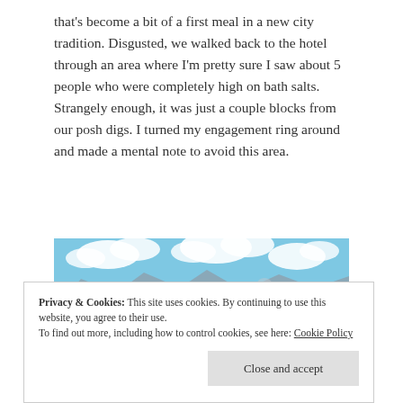that's become a bit of a first meal in a new city tradition. Disgusted, we walked back to the hotel through an area where I'm pretty sure I saw about 5 people who were completely high on bath salts. Strangely enough, it was just a couple blocks from our posh digs. I turned my engagement ring around and made a mental note to avoid this area.
[Figure (photo): Scenic harbor/waterfront view with seaplanes on the water, a forested peninsula in the middle ground, and mountains with clouds in the background under a blue sky.]
Privacy & Cookies: This site uses cookies. By continuing to use this website, you agree to their use.
To find out more, including how to control cookies, see here: Cookie Policy